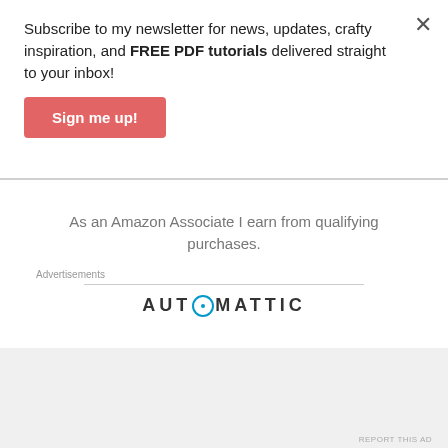Subscribe to my newsletter for news, updates, crafty inspiration, and FREE PDF tutorials delivered straight to your inbox!
Sign me up!
As an Amazon Associate I earn from qualifying purchases.
Advertisements
[Figure (logo): Automattic logo with stylized O containing a blue dot]
Build a better web
Advertisements
REPORT THIS AD